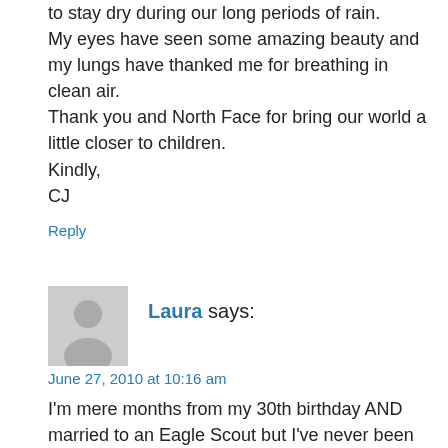to stay dry during our long periods of rain. My eyes have seen some amazing beauty and my lungs have thanked me for breathing in clean air. Thank you and North Face for bring our world a little closer to children.
Kindly,
CJ
Reply
[Figure (illustration): Generic user avatar placeholder - grey silhouette of a person]
Laura says:
June 27, 2010 at 10:16 am
I'm mere months from my 30th birthday AND married to an Eagle Scout but I've never been camping. Honestly. Until recently, my idea of really roughing it